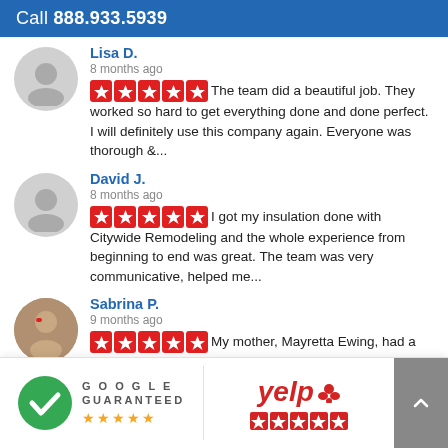Call 888.933.5939
Lisa D. | 8 months ago | ★★★★★ The team did a beautiful job. They worked so hard to get everything done and done perfect. I will definitely use this company again. Everyone was thorough &...
David J. | 8 months ago | ★★★★★ I got my insulation done with Citywide Remodeling and the whole experience from beginning to end was great. The team was very communicative, helped me...
Sabrina P. | 9 months ago | ★★★★★ My mother, Mayretta Ewing, had a company come out ...ch it up and it would
[Figure (logo): Google Guaranteed badge with green circle checkmark and orange stars]
[Figure (logo): Yelp logo with red stars rating badge]